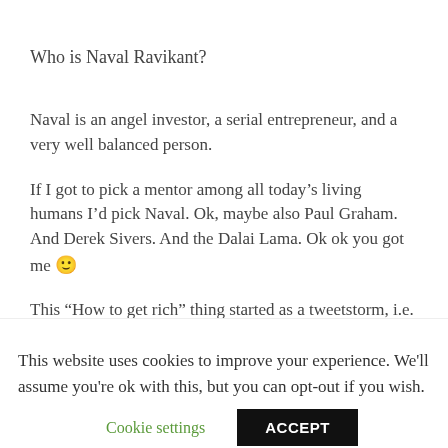Who is Naval Ravikant?
Naval is an angel investor, a serial entrepreneur, and a very well balanced person.
If I got to pick a mentor among all today's living humans I'd pick Naval. Ok, maybe also Paul Graham. And Derek Sivers. And the Dalai Lama. Ok ok you got me 🙂
This “How to get rich” thing started as a tweetstorm, i.e. a series of chained tweets (slightly less than 40)
This website uses cookies to improve your experience. We'll assume you're ok with this, but you can opt-out if you wish.
Cookie settings   ACCEPT